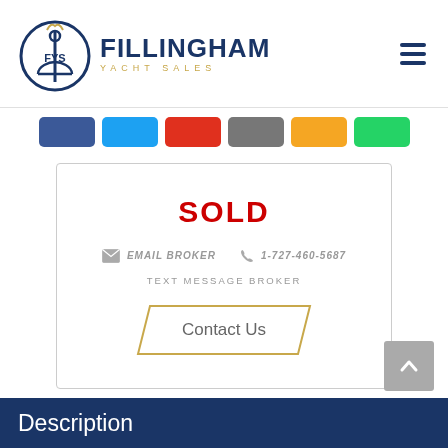FILLINGHAM YACHT SALES
[Figure (screenshot): Social media share buttons row: Facebook (blue), Twitter (light blue), Pinterest (red), Email/Share (gray), another (yellow/gold), WhatsApp (green)]
SOLD
EMAIL BROKER  1-727-460-5687
TEXT MESSAGE BROKER
Contact Us
Description